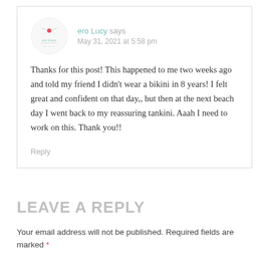[Figure (logo): ero Lucy brand logo — stylized palm/flower illustration with script text]
ero Lucy says
May 31, 2021 at 5:58 pm
Thanks for this post! This happened to me two weeks ago and told my friend I didn't wear a bikini in 8 years! I felt great and confident on that day,, but then at the next beach day I went back to my reassuring tankini. Aaah I need to work on this. Thank you!!
Reply
LEAVE A REPLY
Your email address will not be published. Required fields are marked *